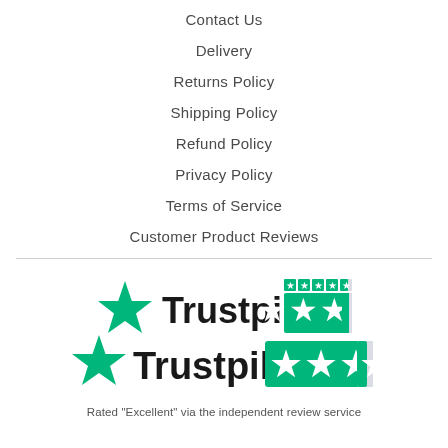Contact Us
Delivery
Returns Policy
Shipping Policy
Refund Policy
Privacy Policy
Terms of Service
Customer Product Reviews
[Figure (logo): Trustpilot logo with green star and five green rating stars]
Rated "Excellent" via the independent review service